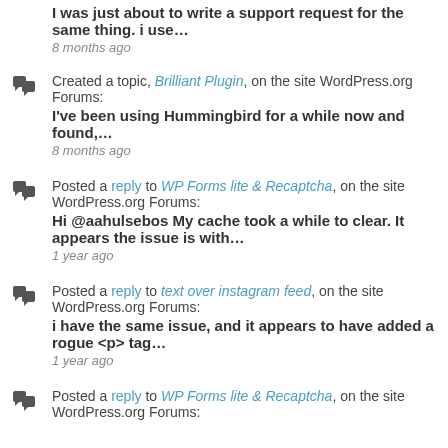I was just about to write a support request for the same thing. i use…
8 months ago
Created a topic, Brilliant Plugin, on the site WordPress.org Forums:
I've been using Hummingbird for a while now and found,…
8 months ago
Posted a reply to WP Forms lite & Recaptcha, on the site WordPress.org Forums:
Hi @aahulsebos My cache took a while to clear. It appears the issue is with…
1 year ago
Posted a reply to text over instagram feed, on the site WordPress.org Forums:
i have the same issue, and it appears to have added a rogue <p> tag…
1 year ago
Posted a reply to WP Forms lite & Recaptcha, on the site WordPress.org Forums: